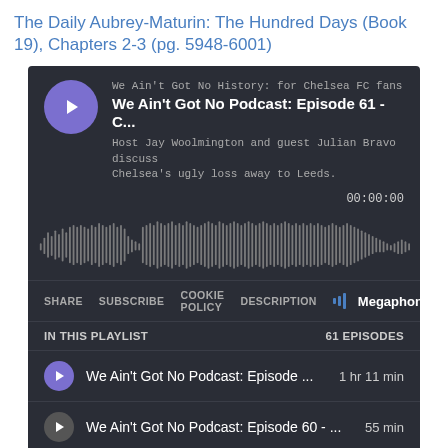The Daily Aubrey-Maturin: The Hundred Days (Book 19), Chapters 2-3 (pg. 5948-6001)
[Figure (screenshot): Podcast player widget with dark background showing 'We Ain't Got No Podcast: Episode 61 - C...' by 'We Ain't Got No History: for Chelsea FC fans', with waveform display showing 00:00:00, navigation buttons (SHARE, SUBSCRIBE, COOKIE POLICY, DESCRIPTION, Megaphone logo), playlist section showing 61 EPISODES with three episode rows listed.]